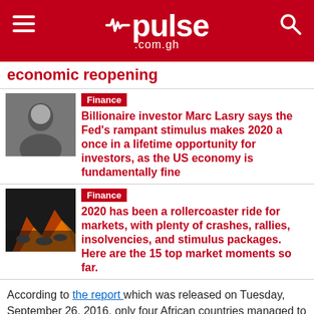pulse .com.gh
economic reopening
[Figure (photo): Thumbnail photo of a man (Marc Lasry)]
Finance
Billionaire investor Marc Lasry says the Fed's rampant stimulus makes 2020 a once in a lifetime opportunity for investors, as the US economy is fundamentally fine
[Figure (photo): Thumbnail photo of a crowd/fire scene]
Finance
2020 has been a rollercoaster ride for markets, with plenty of crashes, rallies, insolvencies, and stimulus packages. Here are the 15 top market moments so far.
According to the report which was released on Tuesday, September 26, 2016, only four African countries managed to improve their productivity and economic prosperity.